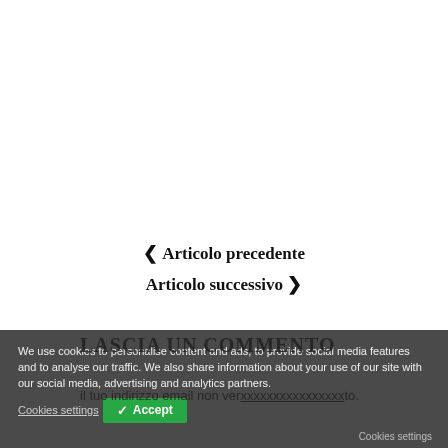❮ Articolo precedente
Articolo successivo ❯
We use cookies to personalise content and ads, to provide social media features and to analyse our traffic. We also share information about your use of our site with our social media, advertising and analytics partners.
il tuo indirizzo email non ver…to.
LASCIA UN COMMENTO
Cookies settings   ✓ Accept   Cookies settings